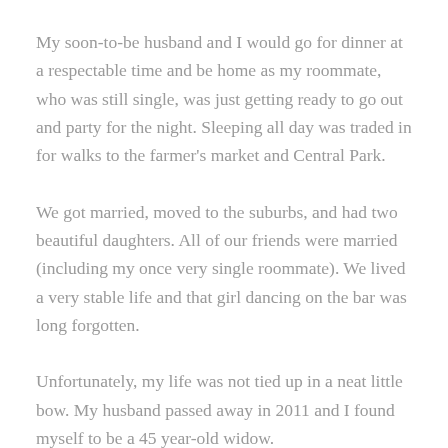My soon-to-be husband and I would go for dinner at a respectable time and be home as my roommate, who was still single, was just getting ready to go out and party for the night. Sleeping all day was traded in for walks to the farmer's market and Central Park.
We got married, moved to the suburbs, and had two beautiful daughters. All of our friends were married (including my once very single roommate). We lived a very stable life and that girl dancing on the bar was long forgotten.
Unfortunately, my life was not tied up in a neat little bow. My husband passed away in 2011 and I found myself to be a 45 year-old widow.